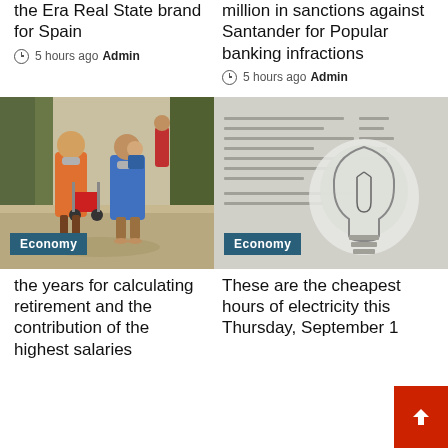the Era Real State brand for Spain
5 hours ago Admin
million in sanctions against Santander for Popular banking infractions
5 hours ago Admin
[Figure (photo): Elderly couple with face masks outdoors, woman pushing red stroller, man carrying child, Economy category badge]
[Figure (photo): Close-up of a light bulb on a document/bill, Economy category badge]
the years for calculating retirement and the contribution of the highest salaries
These are the cheapest hours of electricity this Thursday, September 1